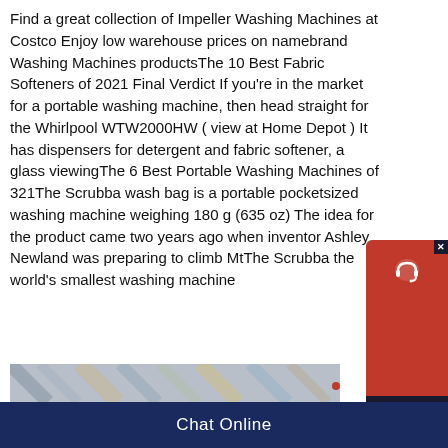Find a great collection of Impeller Washing Machines at Costco Enjoy low warehouse prices on namebrand Washing Machines productsThe 10 Best Fabric Softeners of 2021 Final Verdict If you're in the market for a portable washing machine, then head straight for the Whirlpool WTW2000HW ( view at Home Depot ) It has dispensers for detergent and fabric softener, a glass viewingThe 6 Best Portable Washing Machines of 321The Scrubba wash bag is a portable pocketsized washing machine weighing 180 g (635 oz) The idea for the product came two years ago when inventor Ashley Newland was preparing to climb MtThe Scrubba the world's smallest washing machine
[Figure (screenshot): Chat widget popup with red background, headset icon, and dark 'Chat Now' label]
[Figure (photo): Partial image strip showing what appears to be laundry or fabric items]
Chat Online